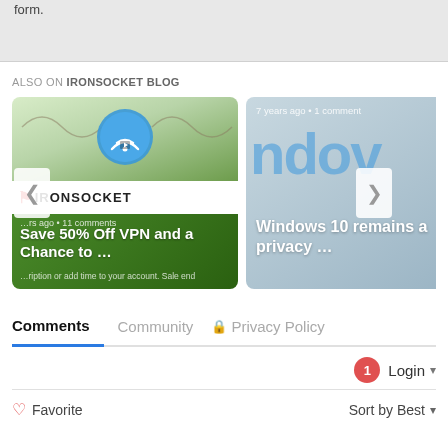form.
ALSO ON IRONSOCKET BLOG
[Figure (screenshot): Blog post card: Save 50% Off VPN and a Chance to ... — with IronSocket logo and WiFi icon]
[Figure (screenshot): Blog post card: Windows 10 remains a privacy ... — 7 years ago, 1 comment]
Comments   Community   🔒 Privacy Policy
1  Login ▾
♡ Favorite
Sort by Best ▾